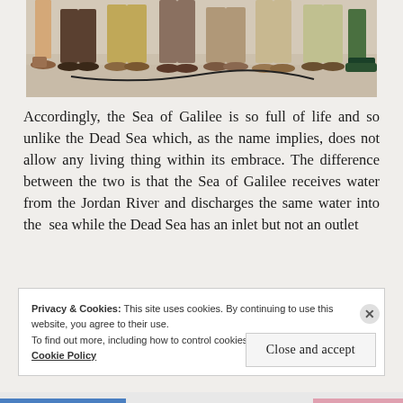[Figure (photo): Photo showing the lower halves of a group of people standing indoors on a light-colored floor, with a cable/wire visible on the ground.]
Accordingly, the Sea of Galilee is so full of life and so unlike the Dead Sea which, as the name implies, does not allow any living thing within its embrace. The difference between the two is that the Sea of Galilee receives water from the Jordan River and discharges the same water into the sea while the Dead Sea has an inlet but not an outlet
Privacy & Cookies: This site uses cookies. By continuing to use this website, you agree to their use.
To find out more, including how to control cookies, see here:
Cookie Policy
Close and accept